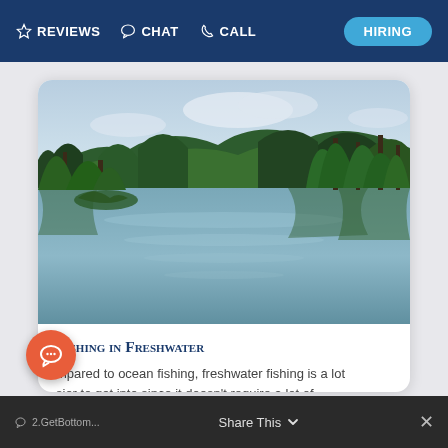REVIEWS  CHAT  CALL  HIRING
[Figure (photo): A serene freshwater lake surrounded by tall green conifer trees and forested hills, with the trees reflecting in the calm water surface. Overcast sky visible above the hills.]
Fishing in Freshwater
Compared to ocean fishing, freshwater fishing is a lot easier to get into since it doesn't require a lot of equipment....
2.GetBottom...  Share This  ×